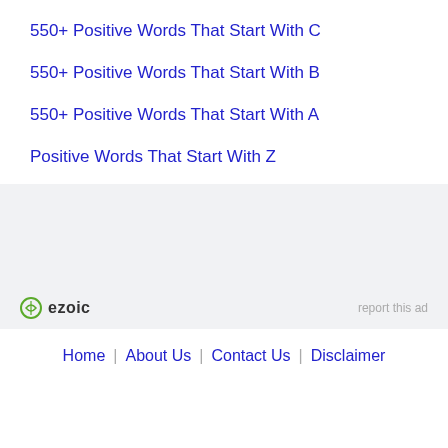550+ Positive Words That Start With C
550+ Positive Words That Start With B
550+ Positive Words That Start With A
Positive Words That Start With Z
[Figure (other): Ezoic advertisement banner with gray background, Ezoic logo at bottom left and 'report this ad' text at bottom right]
Home   About Us   Contact Us   Disclaimer